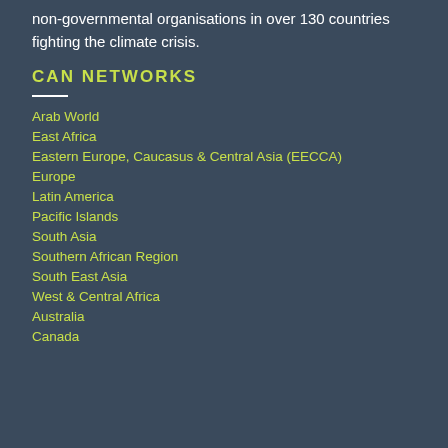non-governmental organisations in over 130 countries fighting the climate crisis.
CAN NETWORKS
Arab World
East Africa
Eastern Europe, Caucasus & Central Asia (EECCA)
Europe
Latin America
Pacific Islands
South Asia
Southern African Region
South East Asia
West & Central Africa
Australia
Canada